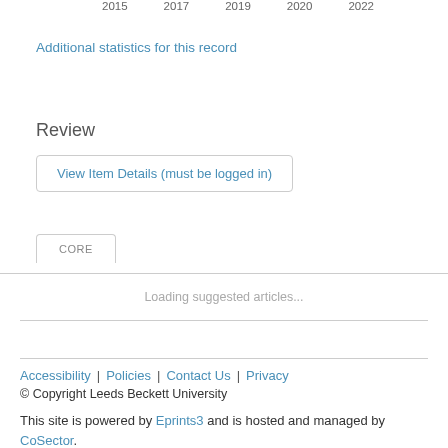2015  2017  2019  2020  2022
Additional statistics for this record
Review
View Item Details (must be logged in)
CORE
Loading suggested articles...
Accessibility | Policies | Contact Us | Privacy © Copyright Leeds Beckett University This site is powered by Eprints3 and is hosted and managed by CoSector.